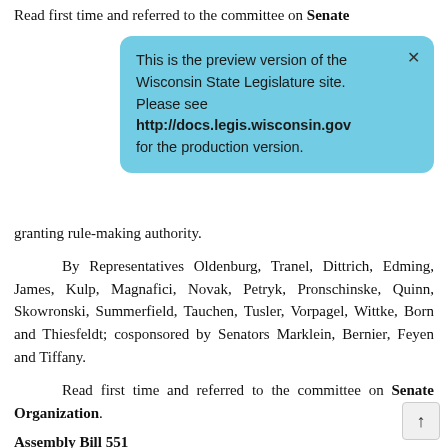Read first time and referred to the committee on Senate
This is the preview version of the Wisconsin State Legislature site. Please see http://docs.legis.wisconsin.gov for the production version.
granting rule-making authority.
By Representatives Oldenburg, Tranel, Dittrich, Edming, James, Kulp, Magnafici, Novak, Petryk, Pronschinske, Quinn, Skowronski, Summerfield, Tauchen, Tusler, Vorpagel, Wittke, Born and Thiesfeldt; cosponsored by Senators Marklein, Bernier, Feyen and Tiffany.
Read first time and referred to the committee on Senate Organization.
Assembly Bill 551
Relating to: the presumption of riparian rights on navigable waterways.